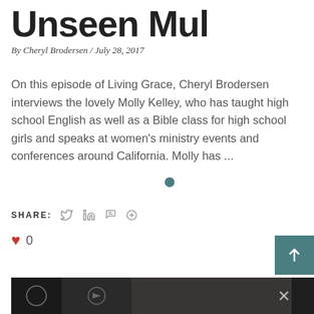Unseen Mul
By Cheryl Brodersen / July 28, 2017
On this episode of Living Grace, Cheryl Brodersen interviews the lovely Molly Kelley, who has taught high school English as well as a Bible class for high school girls and speaks at women's ministry events and conferences around California. Molly has ...
SHARE:
0
[Figure (other): Dark banner image at the bottom of the page showing partial thumbnail images]